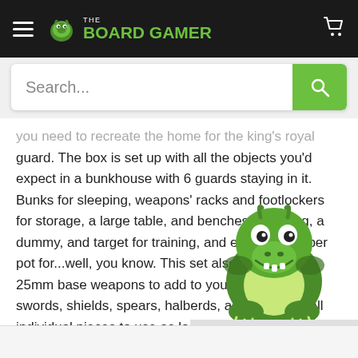The Board Gamer — navigation header with hamburger menu, logo, and cart icon
Search...
you need to recreate the home for the king's royal guard. The box is set up with all the objects you'd expect in a bunkhouse with 6 guards staying in it. Bunks for sleeping, weapons' racks and footlockers for storage, a large table, and benches for eating, a dummy, and target for training, and even a chamber pot for...well, you know. This set also has several 25mm base weapons to add to your world. The swords, shields, spears, halberds, and bows are all individual pieces to use as loot or kit-ba
[Figure (illustration): Green cartoon dragon/turtle mascot peeking over a ledge, smiling]